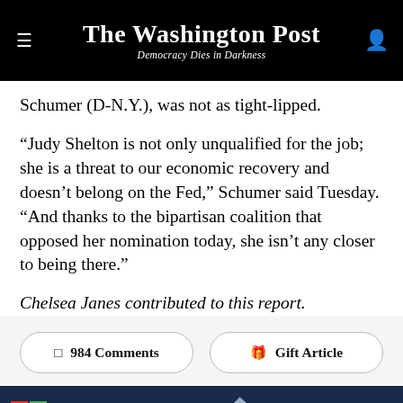The Washington Post — Democracy Dies in Darkness
Schumer (D-N.Y.), was not as tight-lipped.
“Judy Shelton is not only unqualified for the job; she is a threat to our economic recovery and doesn’t belong on the Fed,” Schumer said Tuesday. “And thanks to the bipartisan coalition that opposed her nomination today, she isn’t any closer to being there.”
Chelsea Janes contributed to this report.
984 Comments
Gift Article
[Figure (infographic): Altria advertisement banner: 'Moving beyond smoking' with SEE HOW link, dark blue background with plane/missile graphic]